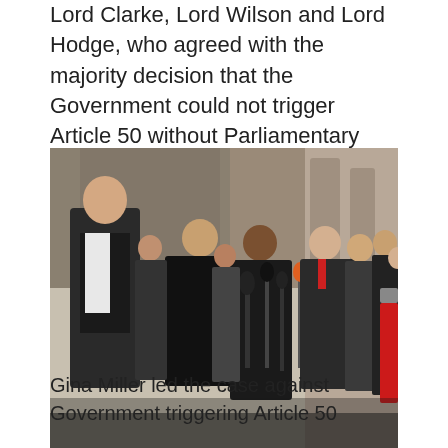Lord Clarke, Lord Wilson and Lord Hodge, who agreed with the majority decision that the Government could not trigger Article 50 without Parliamentary approval.
[Figure (photo): Outdoor press conference scene showing Gina Miller and others speaking to media outside a court building with microphones and reporters gathered around.]
Gina Miller led the case against Government triggering Article 50